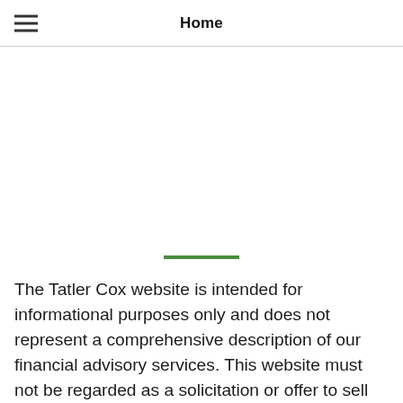Home
[Figure (other): Horizontal green decorative divider line]
The Tatler Cox website is intended for informational purposes only and does not represent a comprehensive description of our financial advisory services. This website must not be regarded as a solicitation or offer to sell securities or investment advisory services. Information made available on this site is obtained from sources that